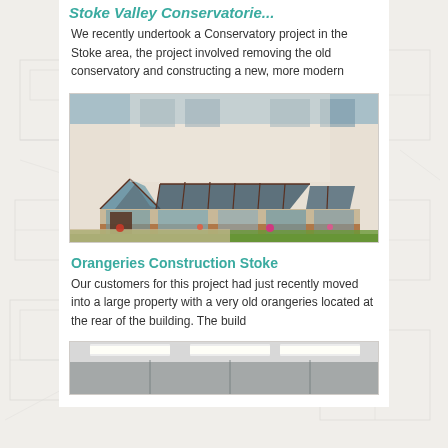Stoke Valley Conservatorie
We recently undertook a Conservatory project in the Stoke area, the project involved removing the old conservatory and constructing a new, more modern
[Figure (photo): Exterior photo of a modern conservatory extension attached to a house, featuring glass roof panels and wooden frames, with a garden in the foreground.]
Orangeries Construction Stoke
Our customers for this project had just recently moved into a large property with a very old orangeries located at the rear of the building. The build
[Figure (photo): Interior photo of an orangery or conservatory under construction or newly built, showing ceiling lights and clean modern interior.]